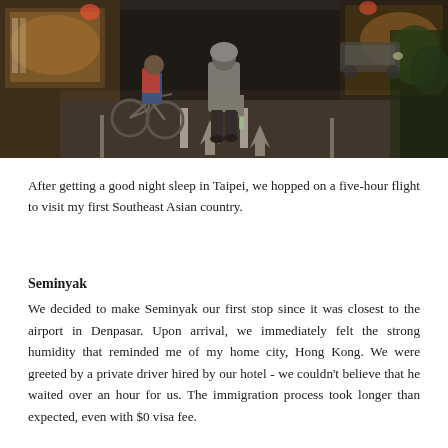[Figure (photo): Street scene at night showing a person in a grey hoodie and dark shorts walking away from camera on a city street, with a cyclist visible to the left, and illuminated storefronts on both sides.]
After getting a good night sleep in Taipei, we hopped on a five-hour flight to visit my first Southeast Asian country.
Seminyak
We decided to make Seminyak our first stop since it was closest to the airport in Denpasar. Upon arrival, we immediately felt the strong humidity that reminded me of my home city, Hong Kong. We were greeted by a private driver hired by our hotel - we couldn't believe that he waited over an hour for us. The immigration process took longer than expected, even with $0 visa fee.